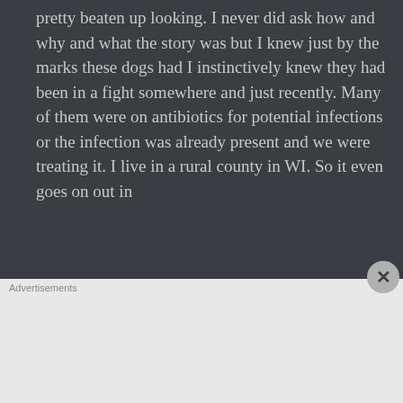pretty beaten up looking. I never did ask how and why and what the story was but I knew just by the marks these dogs had I instinctively knew they had been in a fight somewhere and just recently. Many of them were on antibiotics for potential infections or the infection was already present and we were treating it. I live in a rural county in WI. So it even goes on out in
[Figure (screenshot): DuckDuckGo advertisement banner with orange background. Left side shows text: 'Search, browse, and email with more privacy.' and a white button 'All in One Free App'. Right side shows a smartphone with DuckDuckGo app and logo.]